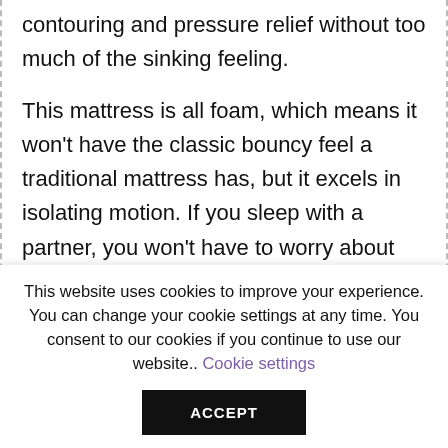contouring and pressure relief without too much of the sinking feeling.

This mattress is all foam, which means it won't have the classic bouncy feel a traditional mattress has, but it excels in isolating motion. If you sleep with a partner, you won't have to worry about being woken up when they get out of bed or toss and
This website uses cookies to improve your experience. You can change your cookie settings at any time. You consent to our cookies if you continue to use our website.. Cookie settings ACCEPT